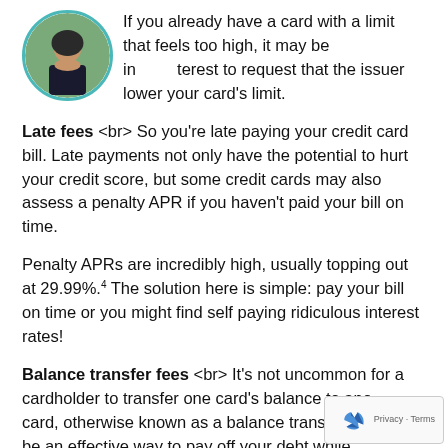If you already have a card with a limit that feels too high, it may be in your best interest to request that the issuer lower your card's limit.
Late fees <br> So you're late paying your credit card bill. Late payments not only have the potential to hurt your credit score, but some credit cards may also assess a penalty APR if you haven't paid your bill on time.
Penalty APRs are incredibly high, usually topping out at 29.99%.4 The solution here is simple: pay your bill on time or you might find self paying ridiculous interest rates!
Balance transfer fees <br> It's not uncommon for a cardholder to transfer one card's balance to another card, otherwise known as a balance transfer. This can be an effective way to pay off your debt while minimizing interest, but if you choose from the